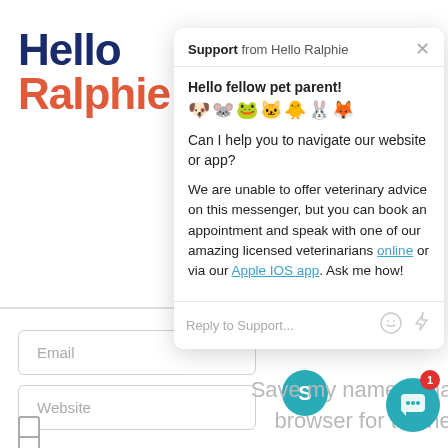[Figure (logo): Hello Ralphie logo with 'Hello' in dark navy bold and 'Ralphie' in coral/orange bold]
[Figure (screenshot): Chat support popup widget from Hello Ralphie showing greeting message with pet emojis, navigation help offer, veterinary advice disclaimer with links to 'online' and 'Apple IOS app', reply input bar, and close button]
Email
Website
Save my name, email, and website in this browser for the next time I comment.